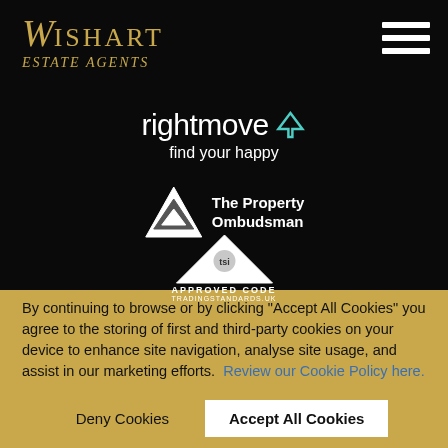[Figure (logo): Wishart Estate Agents logo in gold italic font on black background]
[Figure (logo): Rightmove 'find your happy' logo in white on black background with teal house icon]
[Figure (logo): The Property Ombudsman logo with white triangle and text]
[Figure (logo): Approved Code Trading Standards UK logo with triangle and tsi badge]
By continuing to browse or by clicking "Accept All Cookies" you agree to the storing of first and third-party cookies on your device to enhance site navigation, analyse site usage, and assist in our marketing efforts. Review our Cookie Policy here.
Deny Cookies
Accept All Cookies